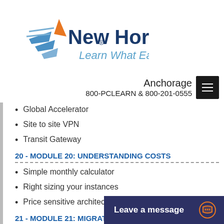[Figure (logo): New Horizons logo with tagline 'Learn What Earns']
Anchorage
800-PCLEARN  & 800-201-0555
Global Accelerator
Site to site VPN
Transit Gateway
20 - MODULE 20: UNDERSTANDING COSTS
Simple monthly calculator
Right sizing your instances
Price sensitive architecture examples
21 - MODULE 21: MIGRATION STRATEGIES
Cloud migration strategies
Planning